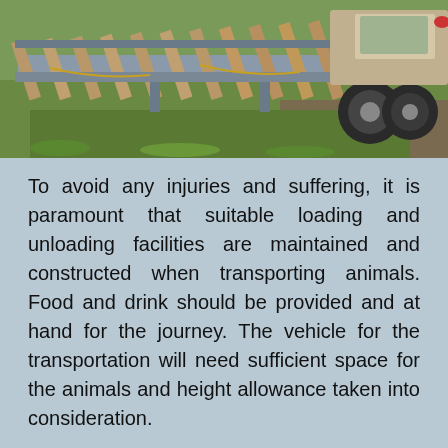[Figure (photo): A livestock loading ramp/trailer with wooden slats attached to a vehicle, positioned on grass and dirt. The ramp is extended showing the loading platform.]
To avoid any injuries and suffering, it is paramount that suitable loading and unloading facilities are maintained and constructed when transporting animals. Food and drink should be provided and at hand for the journey. The vehicle for the transportation will need sufficient space for the animals and height allowance taken into consideration.
Animal transporters must be competent in handling animals and mustn't use any methods